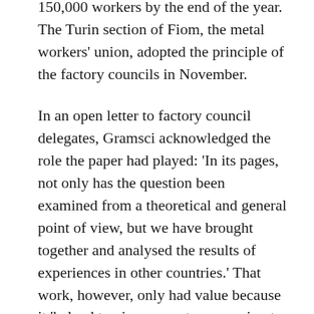organised into councils, rising to 150,000 workers by the end of the year. The Turin section of Fiom, the metal workers' union, adopted the principle of the factory councils in November.
In an open letter to factory council delegates, Gramsci acknowledged the role the paper had played: 'In its pages, not only has the question been examined from a theoretical and general point of view, but we have brought together and analysed the results of experiences in other countries.' That work, however, only had value because it 'helped to give concrete expression to an aspiration that was latent in the consciousness of the working masses. This is why we were so rapidly understood; this is why the transition from discussion to realisation was effected so rapidly'.25